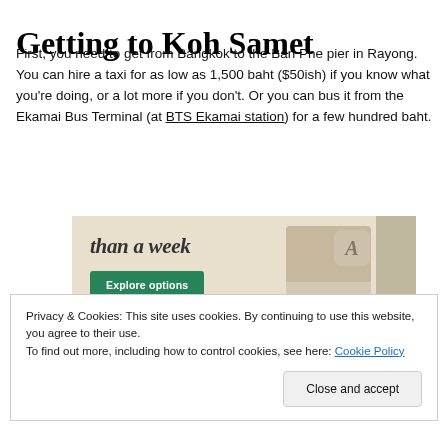Getting to Koh Samet
First, you need to get from Bangkok to the Ban Phe pier in Rayong. You can hire a taxi for as low as 1,500 baht ($50ish) if you know what you're doing, or a lot more if you don't. Or you can bus it from the Ekamai Bus Terminal (at BTS Ekamai station) for a few hundred baht.
[Figure (screenshot): Advertisement banner showing 'than a week' text with an Explore options button on a tan background, with website screenshots and food photography visible.]
Privacy & Cookies: This site uses cookies. By continuing to use this website, you agree to their use.
To find out more, including how to control cookies, see here: Cookie Policy